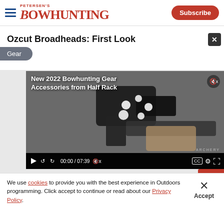Petersen's Bowhunting — Subscribe
Gear
Ozcut Broadheads: First Look
[Figure (screenshot): Embedded video player showing 'New 2022 Bowhunting Gear Accessories from Half Rack' with video controls showing 00:00 / 07:39]
We use cookies to provide you with the best experience in Outdoors programming. Click accept to continue or read about our Privacy Policy.